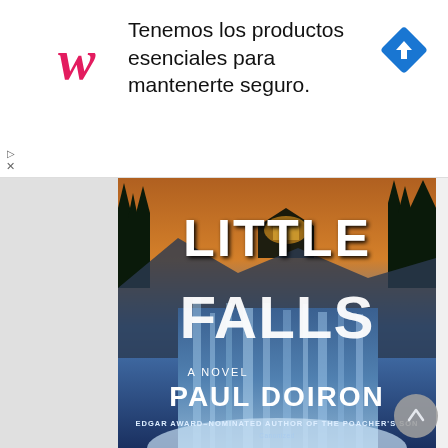[Figure (screenshot): Walgreens advertisement banner with red italic W logo, text 'Tenemos los productos esenciales para mantenerte seguro.' and blue diamond navigation arrow icon]
[Figure (photo): Book cover of 'Little Falls' - A Novel by Paul Doiron. Shows a dramatic mountain scene with a lit cabin, pine trees, sunset/sunrise sky, and a frozen waterfall cascade in blue tones. White bold text reads LITTLE FALLS across the top and middle. Below: A NOVEL, then PAUL DOIRON in large white text. Bottom text: EDGAR AWARD-NOMINATED AUTHOR OF THE POACHER'S SON]